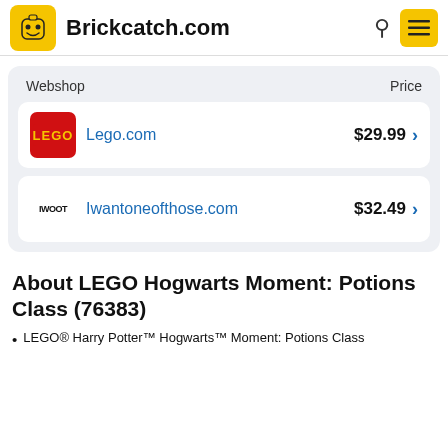Brickcatch.com
| Webshop | Price |
| --- | --- |
| Lego.com | $29.99 |
| Iwantoneofthose.com | $32.49 |
About LEGO Hogwarts Moment: Potions Class (76383)
LEGO® Harry Potter™ Hogwarts™ Moment: Potions Class (76383) brings the iconic...